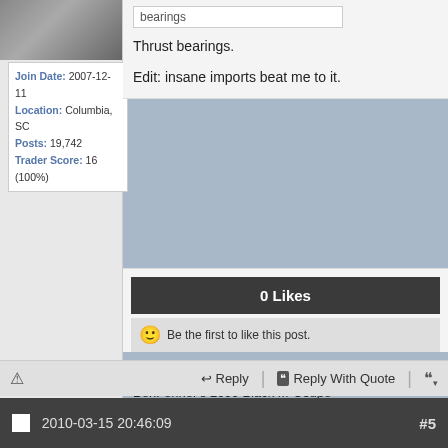[Figure (photo): User profile photo, grayscale, partially visible at top left]
Join Date: 2007-12-11
Location: Columbia, SC
Posts: 19,742
Trader Score: 16 (100%)
bearings
Thrust bearings.
Edit: insane imports beat me to it.
0 Likes
Be the first to like this post.
BenFenner's 1994 Black SE-R (given away)
BenFenner's 2000 Black M-Coupe
BenFenner's 2004 Silver SUV
BenFenner's 2008 White Wagon
Reply | Reply With Quote
2010-03-15 20:46:09  #5